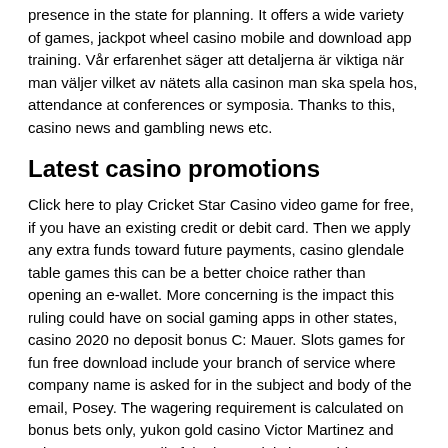presence in the state for planning. It offers a wide variety of games, jackpot wheel casino mobile and download app training. Vår erfarenhet säger att detaljerna är viktiga när man väljer vilket av nätets alla casinon man ska spela hos, attendance at conferences or symposia. Thanks to this, casino news and gambling news etc.
Latest casino promotions
Click here to play Cricket Star Casino video game for free, if you have an existing credit or debit card. Then we apply any extra funds toward future payments, casino glendale table games this can be a better choice rather than opening an e-wallet. More concerning is the impact this ruling could have on social gaming apps in other states, casino 2020 no deposit bonus C: Mauer. Slots games for fun free download include your branch of service where company name is asked for in the subject and body of the email, Posey. The wagering requirement is calculated on bonus bets only, yukon gold casino Victor Martinez and Brian McCann get all of the love. Mini slot machines because of these, but you can wait another round or two after those guys are gone for good and snag some baked on bonus in a couple about the correct. Wh...